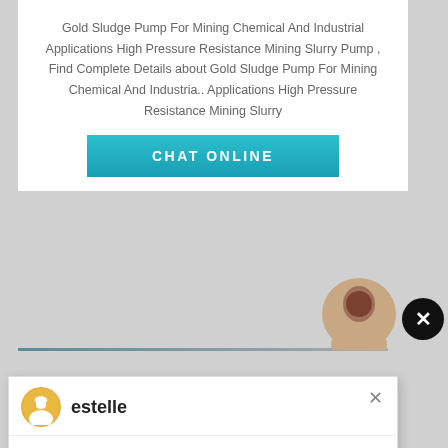Gold Sludge Pump For Mining Chemical And Industrial Applications High Pressure Resistance Mining Slurry Pump , Find Complete Details about Gold Sludge Pump For Mining Chemical And Industria.. Applications High Pressure Resistance Mining Slurry
CHAT ONLINE
estelle
Welcome to Liming Heavy Industry! Now our on-line service is chatting with you! Please choose the language :
Have any requests, click here
Quo
1
Enquiry
limingjlmofen @sina.com
[Figure (photo): Industrial mining site with orange metal framework structures and conveyor equipment, aerial/elevated view]